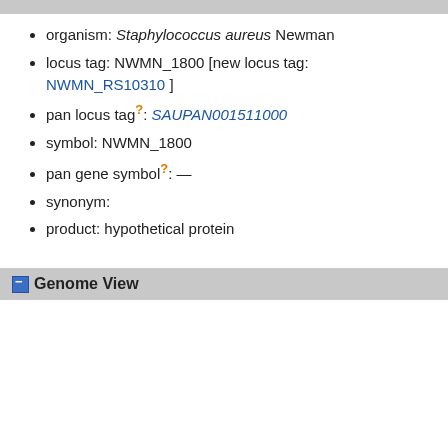organism: Staphylococcus aureus Newman
locus tag: NWMN_1800 [new locus tag: NWMN_RS10310 ]
pan locus tag?: SAUPAN001511000
symbol: NWMN_1800
pan gene symbol?: —
synonym:
product: hypothetical protein
Genome View